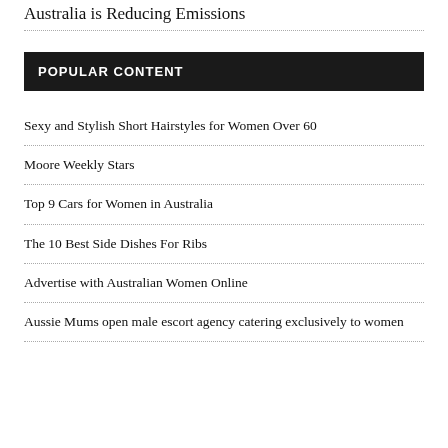Australia is Reducing Emissions
POPULAR CONTENT
Sexy and Stylish Short Hairstyles for Women Over 60
Moore Weekly Stars
Top 9 Cars for Women in Australia
The 10 Best Side Dishes For Ribs
Advertise with Australian Women Online
Aussie Mums open male escort agency catering exclusively to women